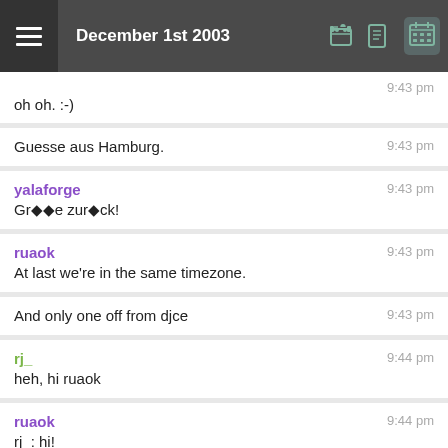December 1st 2003
oh oh. :-)
9:43 pm
Guesse aus Hamburg.
9:43 pm
yalaforge
Gr��e zur�ck!
9:43 pm
ruaok
At last we're in the same timezone.
9:43 pm
And only one off from djce
9:43 pm
rj_
heh, hi ruaok
9:44 pm
ruaok
rj_: hi!
9:44 pm